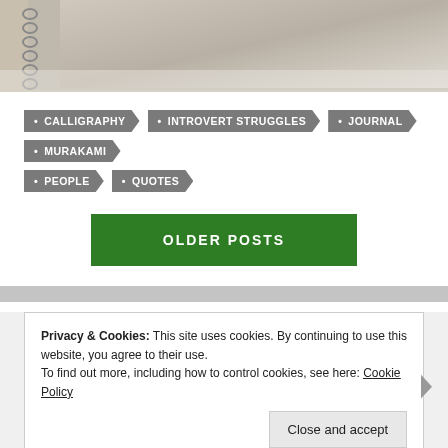[Figure (photo): Top portion of a spiral-bound notebook on a light surface, viewed from above at an angle.]
CALLIGRAPHY
INTROVERT STRUGGLES
JOURNAL
MURAKAMI
PEOPLE
QUOTES
OLDER POSTS
Privacy & Cookies: This site uses cookies. By continuing to use this website, you agree to their use.
To find out more, including how to control cookies, see here: Cookie Policy
Close and accept